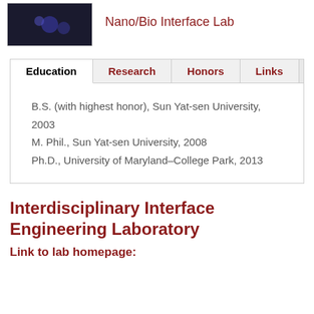Nano/Bio Interface Lab
B.S. (with highest honor), Sun Yat-sen University, 2003
M. Phil., Sun Yat-sen University, 2008
Ph.D., University of Maryland–College Park, 2013
Interdisciplinary Interface Engineering Laboratory
Link to lab homepage: